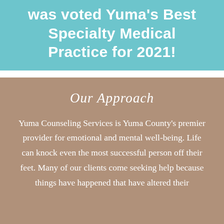was voted Yuma's Best Specialty Medical Practice for 2021!
Our Approach
Yuma Counseling Services is Yuma County's premier provider for emotional and mental well-being. Life can knock even the most successful person off their feet. Many of our clients come seeking help because things have happened that have altered their